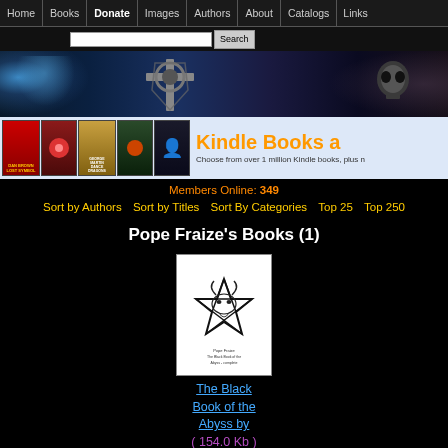Home | Books | Donate | Images | Authors | About | Catalogs | Links
[Figure (screenshot): Search bar with text input and Search button]
[Figure (illustration): Dark fantasy banner with glowing blue figure, Celtic cross, skull, and smoke effects]
[Figure (illustration): Kindle Books advertisement strip showing book covers and text: Choose from over 1 million Kindle books, plus more]
Members Online: 349
Sort by Authors   Sort by Titles   Sort By Categories   Top 25   Top 250
Pope Fraize's Books (1)
[Figure (illustration): Book cover for The Black Book of the Abyss - white cover with black inverted pentagram/goat head design]
The Black Book of the Abyss by ( 154.0 Kb ) Download